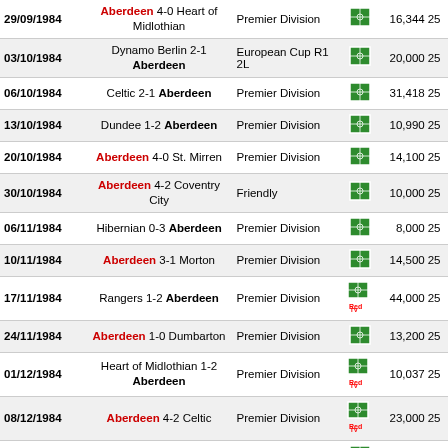| Date | Match | Competition | Icon | Attendance | Num |
| --- | --- | --- | --- | --- | --- |
| 29/09/1984 | Aberdeen 4-0 Heart of Midlothian | Premier Division |  | 16,344 | 25 |
| 03/10/1984 | Dynamo Berlin 2-1 Aberdeen | European Cup R1 2L |  | 20,000 | 25 |
| 06/10/1984 | Celtic 2-1 Aberdeen | Premier Division |  | 31,418 | 25 |
| 13/10/1984 | Dundee 1-2 Aberdeen | Premier Division |  | 10,990 | 25 |
| 20/10/1984 | Aberdeen 4-0 St. Mirren | Premier Division |  | 14,100 | 25 |
| 30/10/1984 | Aberdeen 4-2 Coventry City | Friendly |  | 10,000 | 25 |
| 06/11/1984 | Hibernian 0-3 Aberdeen | Premier Division |  | 8,000 | 25 |
| 10/11/1984 | Aberdeen 3-1 Morton | Premier Division |  | 14,500 | 25 |
| 17/11/1984 | Rangers 1-2 Aberdeen | Premier Division | RedTV | 44,000 | 25 |
| 24/11/1984 | Aberdeen 1-0 Dumbarton | Premier Division |  | 13,200 | 25 |
| 01/12/1984 | Heart of Midlothian 1-2 Aberdeen | Premier Division | RedTV | 10,037 | 25 |
| 08/12/1984 | Aberdeen 4-2 Celtic | Premier Division | RedTV | 23,000 | 25 |
| 15/12/1984 | Aberdeen 0-0 Dundee | Premier Division |  | 14,000 | 25 |
| 30/01/1985 | Aberdeen 5-0 Alloa Athletic | Scottish Cup R3 |  | 13,500 | 26 |
| 02/02/1985 | Dumbarton 0-2 Aberdeen | Premier Division |  | 3,500 | 26 |